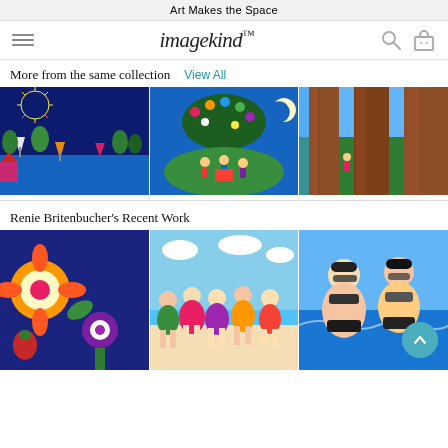Art Makes the Space
[Figure (logo): imagekind logo with hamburger menu, search and cart icons]
More from the same collection   View All
[Figure (photo): Three art images: colorful folk art harbor scene with fireworks, children reading under flowering tree at night, large tree trunk with children climbing]
Renie Britenbucher's Recent Work
[Figure (photo): Three art images: colorful folk flowers, plus size women in swimsuits on beach, plus size women in bikinis at beach]